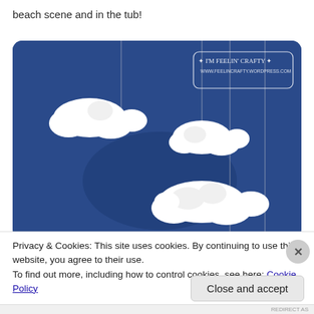beach scene and in the tub!
[Figure (photo): Three white cloud sculptures hanging from strings against a dark blue background, with an 'I'm Feelin' Crafty' watermark in the top right corner. URL www.feelincrafty.wordpress.com shown beneath the logo.]
Privacy & Cookies: This site uses cookies. By continuing to use this website, you agree to their use.
To find out more, including how to control cookies, see here: Cookie Policy
Close and accept